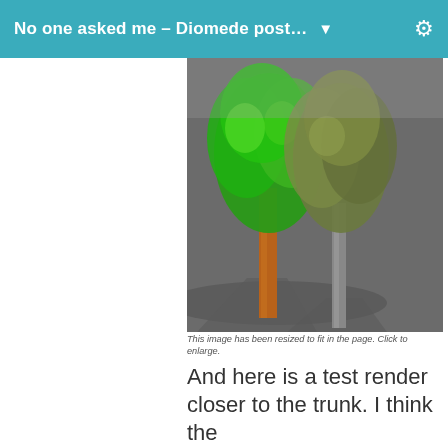No one asked me – Diomede post... ▼
[Figure (illustration): 3D rendered image showing two stylized trees side by side — one with bright green foliage and an orange-brown trunk, the other with darker olive/grey foliage and a grey trunk — set against a dark grey background with shadows on the ground plane.]
This image has been resized to fit in the page. Click to enlarge.
And here is a test render closer to the trunk. I think the